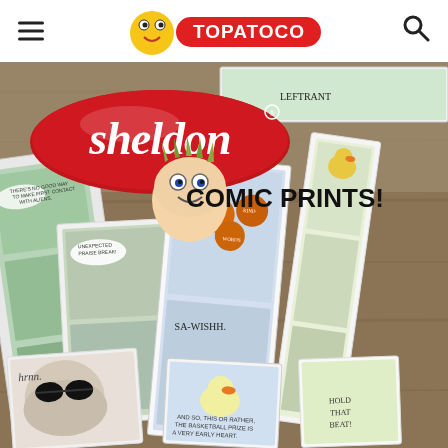TOPATOCO (navigation header with menu and search icons)
[Figure (illustration): Sheldon Comic Prints promotional image showing the Sheldon logo and a collage of comic strip prints spread on a wooden table surface. The Sheldon logo is a red oval with white italic text. Below the logo text reads 'COMIC PRINTS!' in bold black letters. Comic strips featuring cartoon characters including a duck, a bald man, and a dog are visible in the collage.]